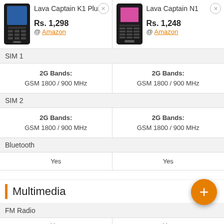[Figure (screenshot): Product comparison page showing Lava Captain K1 Plus vs Lava Captain N1 phones with prices and specs]
| Lava Captain K1 Plus | Lava Captain N1 |
| --- | --- |
| Rs. 1,298 @ Amazon | Rs. 1,248 @ Amazon |
| SIM 1 | SIM 1 |
| 2G Bands: GSM 1800 / 900 MHz | 2G Bands: GSM 1800 / 900 MHz |
| SIM 2 | SIM 2 |
| 2G Bands: GSM 1800 / 900 MHz | 2G Bands: GSM 1800 / 900 MHz |
| Bluetooth | Bluetooth |
| Yes | Yes |
| Multimedia |  |
| FM Radio | FM Radio |
| Yes | Yes |
| Recording option | Wireless FM |